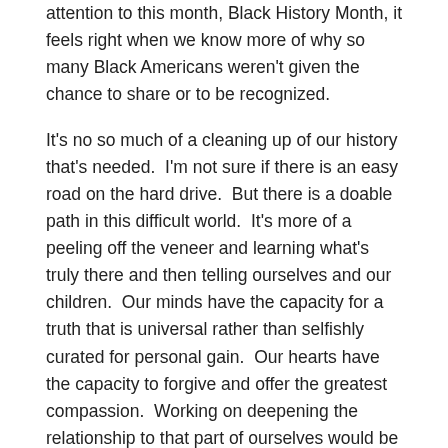attention to this month, Black History Month, it feels right when we know more of why so many Black Americans weren't given the chance to share or to be recognized.
It's no so much of a cleaning up of our history that's needed.  I'm not sure if there is an easy road on the hard drive.  But there is a doable path in this difficult world.  It's more of a peeling off the veneer and learning what's truly there and then telling ourselves and our children.  Our minds have the capacity for a truth that is universal rather than selfishly curated for personal gain.  Our hearts have the capacity to forgive and offer the greatest compassion.  Working on deepening the relationship to that part of ourselves would be the best advancement of man beyond going to space or securing the biggest weapons.  It's just that isn't the direction we've been going and not likely the course that will be redirected as the popular show anytime soon.  On the good side, having President